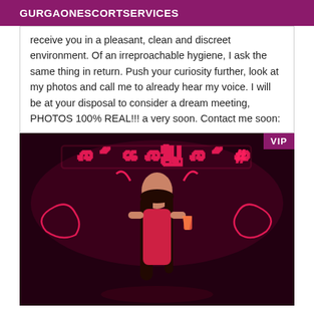GURGAONESCORTSERVICES
receive you in a pleasant, clean and discreet environment. Of an irreproachable hygiene, I ask the same thing in return. Push your curiosity further, look at my photos and call me to already hear my voice. I will be at your disposal to consider a dream meeting, PHOTOS 100% REAL!!! a very soon. Contact me soon:
[Figure (photo): A woman in a red outfit in a nightclub setting with neon lights in the background. A VIP badge is shown in the top right corner.]